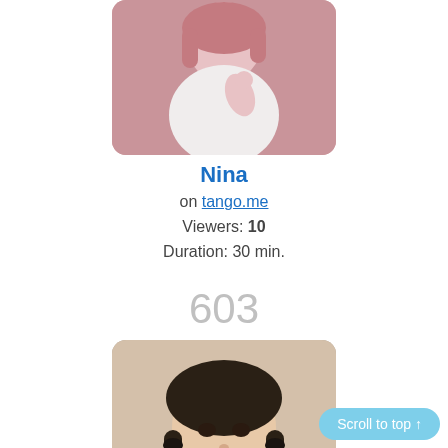[Figure (photo): Profile photo of Nina, partial view from top, pink/mauve background]
Nina
on tango.me
Viewers: 10
Duration: 30 min.
603
[Figure (photo): Photo of a young woman with braided pigtails, looking at camera]
Scroll to top ↑